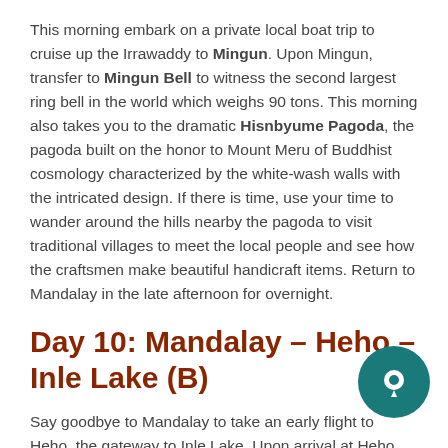This morning embark on a private local boat trip to cruise up the Irrawaddy to Mingun. Upon Mingun, transfer to Mingun Bell to witness the second largest ring bell in the world which weighs 90 tons. This morning also takes you to the dramatic Hisnbyume Pagoda, the pagoda built on the honor to Mount Meru of Buddhist cosmology characterized by the white-wash walls with the intricated design. If there is time, use your time to wander around the hills nearby the pagoda to visit traditional villages to meet the local people and see how the craftsmen make beautiful handicraft items. Return to Mandalay in the late afternoon for overnight.
Day 10: Mandalay – Heho – Inle Lake (B)
Say goodbye to Mandalay to take an early flight to Heho, the gateway to Inle Lake. Upon arrival at Heho Airport, picked up by our driver and transfer to NyaungShwe where you will spend 2… discover the most gorgeous lake in Myanmar.
The rest of the day, immerse into an amazing private boat trip